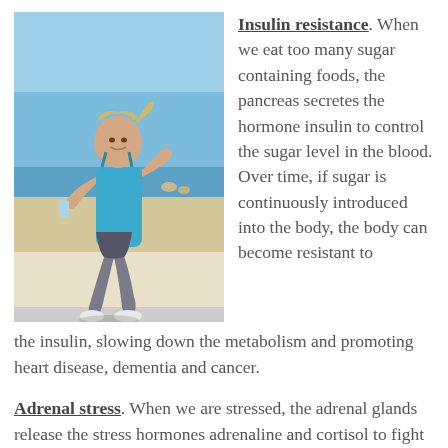[Figure (photo): Woman jogging on a beachside path, wearing a teal tank top and gray capri pants, holding a water bottle, blue sky in background.]
Insulin resistance. When we eat too many sugar containing foods, the pancreas secretes the hormone insulin to control the sugar level in the blood. Over time, if sugar is continuously introduced into the body, the body can become resistant to the insulin, slowing down the metabolism and promoting heart disease, dementia and cancer.
Adrenal stress. When we are stressed, the adrenal glands release the stress hormones adrenaline and cortisol to fight the stress. Adrenal gland exhaustion